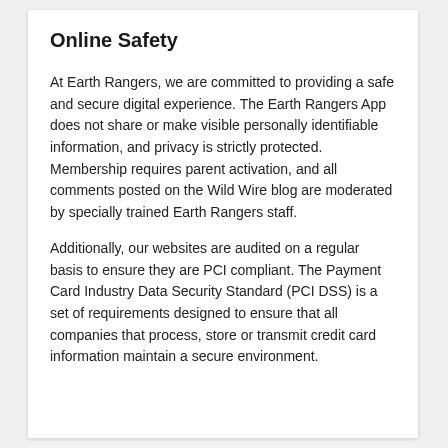Online Safety
At Earth Rangers, we are committed to providing a safe and secure digital experience. The Earth Rangers App does not share or make visible personally identifiable information, and privacy is strictly protected. Membership requires parent activation, and all comments posted on the Wild Wire blog are moderated by specially trained Earth Rangers staff.
Additionally, our websites are audited on a regular basis to ensure they are PCI compliant. The Payment Card Industry Data Security Standard (PCI DSS) is a set of requirements designed to ensure that all companies that process, store or transmit credit card information maintain a secure environment.